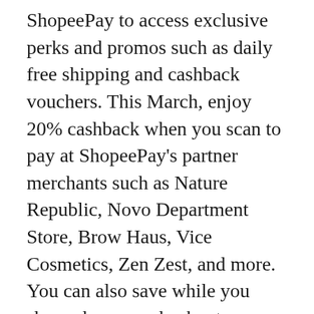ShopeePay to access exclusive perks and promos such as daily free shipping and cashback vouchers. This March, enjoy 20% cashback when you scan to pay at ShopeePay's partner merchants such as Nature Republic, Novo Department Store, Brow Haus, Vice Cosmetics, Zen Zest, and more. You can also save while you shop when you checkout ShopeePay ₱1 Deals and redeem discounts in stores.
Continue your rewarding cashless experience with ShopeePay's free transfers feature and get a chance to win ₱100,000 when you send money to any bank or to any Shopee user via ShopeePay. As an additional treat, new users can get free ₱100 on their first use of free transfers.